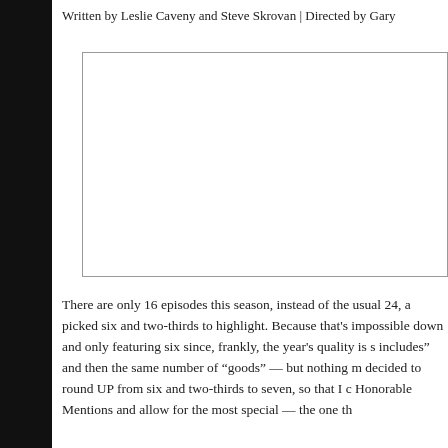Written by Leslie Caveny and Steve Skrovan | Directed by Gary
[Figure (other): A blank white rectangular image placeholder with a thin border]
There are only 16 episodes this season, instead of the usual 24, a picked six and two-thirds to highlight. Because that's impossible down and only featuring six since, frankly, the year's quality is s includes" and then the same number of "goods" — but nothing m decided to round UP from six and two-thirds to seven, so that I c Honorable Mentions and allow for the most special — the one th